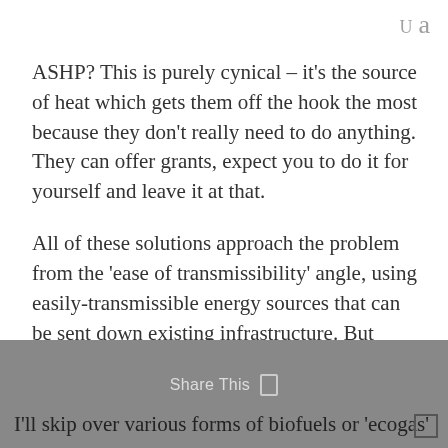U a
ASHP? This is purely cynical – it’s the source of heat which gets them off the hook the most because they don’t really need to do anything. They can offer grants, expect you to do it for yourself and leave it at that.
All of these solutions approach the problem from the ‘ease of transmissibility’ angle, using easily-transmissible energy sources that can be sent down existing infrastructure. But doing that doesn’t actually do much to reduce the disruption, it costs a lot more and it requires upstream investment (basically, you need to build a lot more electricity generation and reinforce the grid to be able to deal with the heating surges).
I’ll skip over various forms of biofuels or ‘ecogas’